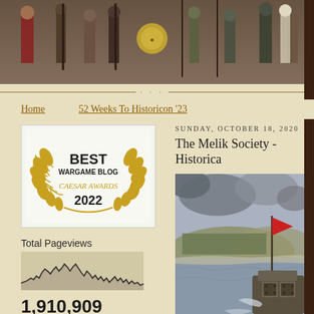[Figure (illustration): Top banner showing historical figures in period costume, medieval/ancient soldiers and nobles]
Home    52 Weeks To Historicon '23
[Figure (logo): Caesar Awards 2022 Best Wargame Blog badge with laurel wreath in gold]
Total Pageviews
[Figure (continuous-plot): Sparkline chart showing pageview history with jagged line pattern]
1,910,909
Followers
Followers (594) Next
[Figure (photo): Six follower avatars: one portrait photo of a man, two blue default avatars in first row; one blue default, one panda/animal avatar, one dark circular badge in second row]
SUNDAY, OCTOBER 18, 2020
The Melik Society - Historica
[Figure (illustration): Historical illustrated image showing a steamboat or gunboat on water with a red flag, with landscape in background, grey sky]